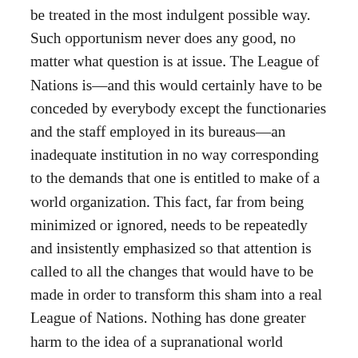be treated in the most indulgent possible way. Such opportunism never does any good, no matter what question is at issue. The League of Nations is—and this would certainly have to be conceded by everybody except the functionaries and the staff employed in its bureaus—an inadequate institution in no way corresponding to the demands that one is entitled to make of a world organization. This fact, far from being minimized or ignored, needs to be repeatedly and insistently emphasized so that attention is called to all the changes that would have to be made in order to transform this sham into a real League of Nations. Nothing has done greater harm to the idea of a supranational world organization than the intellectual confusion arising from the belief that the present League constitutes a complete or virtually complete realization of what every honest and sincere liberal must demand. It is impossible to build a real League of Nations, capable of assuring lasting peace, on the principle that the traditional, historically determined boundaries of each country are to be treated as inalterable fixed. The